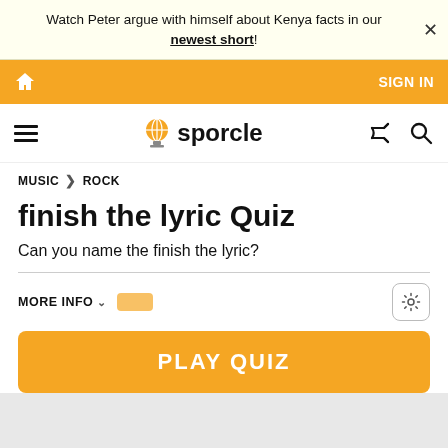Watch Peter argue with himself about Kenya facts in our newest short!
[Figure (screenshot): Orange navigation bar with home icon and SIGN IN text]
[Figure (logo): Sporcle logo with globe icon, hamburger menu, shuffle and search icons]
MUSIC > ROCK
finish the lyric Quiz
Can you name the finish the lyric?
MORE INFO
PLAY QUIZ